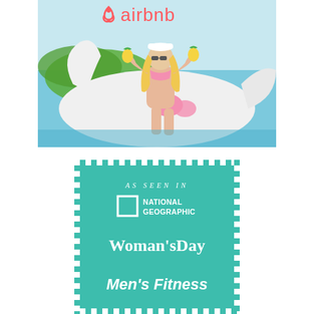[Figure (photo): Airbnb branded photo showing a blonde woman in a pink bikini sitting on a large white inflatable swan float in a pool, holding pineapple drinks, with pink flamingo inflatables. Airbnb logo with coral/red color and symbol visible at top.]
[Figure (infographic): Teal/turquoise box with white checkerboard border pattern. Text reads 'AS SEEN IN' in italic spaced letters, followed by National Geographic logo (square icon + text), Woman's Day in serif bold, and Men's Fitness in bold italic at bottom.]